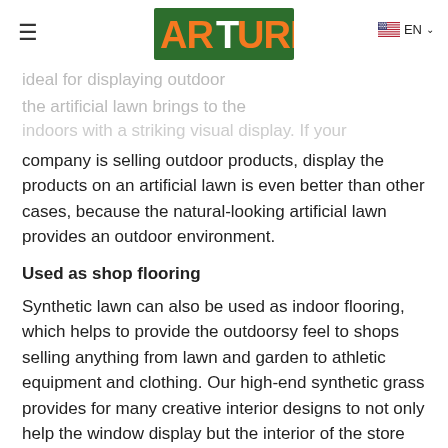ARTURF (logo) EN
ideal for displaying outdoor and the artificial lawn brings to the indoors with a striking visual display. If your company is selling outdoor products, display the products on an artificial lawn is even better than other cases, because the natural-looking artificial lawn provides an outdoor environment.
Used as shop flooring
Synthetic lawn can also be used as indoor flooring, which helps to provide the outdoorsy feel to shops selling anything from lawn and garden to athletic equipment and clothing. Our high-end synthetic grass provides for many creative interior designs to not only help the window display but the interior of the store as well. The artificial lawn provides the perfect urban trend many consumers are drawn to while shopping.